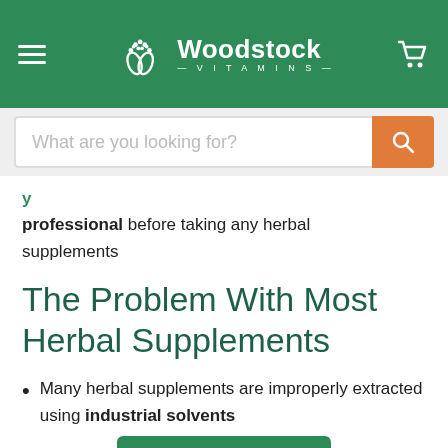Woodstock Vitamins
professional before taking any herbal supplements
The Problem With Most Herbal Supplements
Many herbal supplements are improperly extracted using industrial solvents like hexane or acetone
Rewards Program